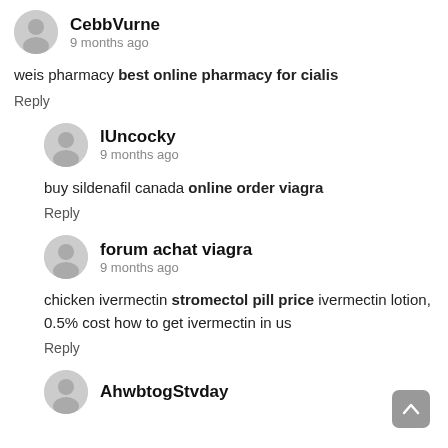CebbVurne
9 months ago
weis pharmacy best online pharmacy for cialis
Reply
lUncocky
9 months ago
buy sildenafil canada online order viagra
Reply
forum achat viagra
9 months ago
chicken ivermectin stromectol pill price ivermectin lotion, 0.5% cost how to get ivermectin in us
Reply
AhwbtogStvday